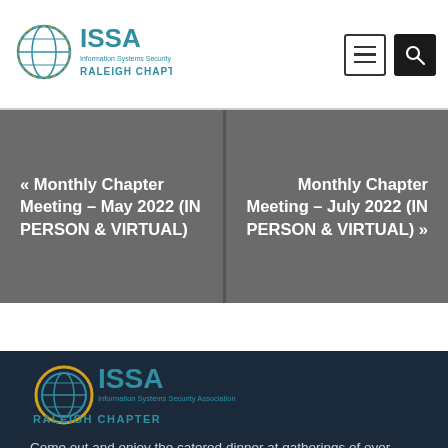ISSA Raleigh Chapter
« Monthly Chapter Meeting – May 2022 (IN PERSON & VIRTUAL)
Monthly Chapter Meeting – July 2022 (IN PERSON & VIRTUAL) »
[Figure (logo): ISSA Raleigh Chapter logo with globe icon, teal and gold colors]
Come out and enjoy the catered dinner at gatherings of over